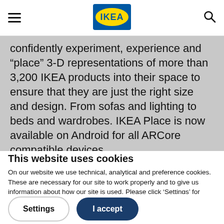IKEA header with hamburger menu, IKEA logo, and search icon
confidently experiment, experience and “place” 3-D representations of more than 3,200 IKEA products into their space to ensure that they are just the right size and design. From sofas and lighting to beds and wardrobes. IKEA Place is now available on Android for all ARCore compatible devices.
This website uses cookies
On our website we use technical, analytical and preference cookies. These are necessary for our site to work properly and to give us information about how our site is used. Please click ‘Settings’ for more information or to change your cookie preferences.
Settings | I accept